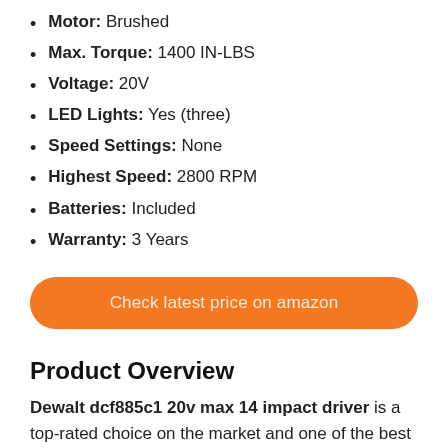Motor: Brushed
Max. Torque: 1400 IN-LBS
Voltage: 20V
LED Lights: Yes (three)
Speed Settings: None
Highest Speed: 2800 RPM
Batteries: Included
Warranty: 3 Years
Check latest price on amazon
Product Overview
Dewalt dcf885c1 20v max 14 impact driver is a top-rated choice on the market and one of the best budget impact drivers. This is simply